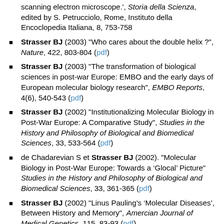scanning electron microscope.', Storia della Scienza, edited by S. Petrucciolo, Rome, Instituto della Encoclopedia Italiana, 8, 753-758
Strasser BJ (2003) "Who cares about the double helix ?", Nature, 422, 803-804 (pdf)
Strasser BJ (2003) "The transformation of biological sciences in post-war Europe: EMBO and the early days of European molecular biology research", EMBO Reports, 4(6), 540-543 (pdf)
Strasser BJ (2002) "Institutionalizing Molecular Biology in Post-War Europe: A Comparative Study", Studies in the History and Philosophy of Biological and Biomedical Sciences, 33, 533-564 (pdf)
de Chadarevian S et Strasser BJ (2002). "Molecular Biology in Post-War Europe: Towards a ‘Glocal’ Picture" Studies in the History and Philosophy of Biological and Biomedical Sciences, 33, 361-365 (pdf)
Strasser BJ (2002) "Linus Pauling’s ‘Molecular Diseases’, Between History and Memory", Amercian Journal of Medical Genetics, 115, 83-93 (pdf)
Strasser BJ (2002) "Microscopes électroniques, totems de laboratoires et réseaux transnationaux: L’émergence de la